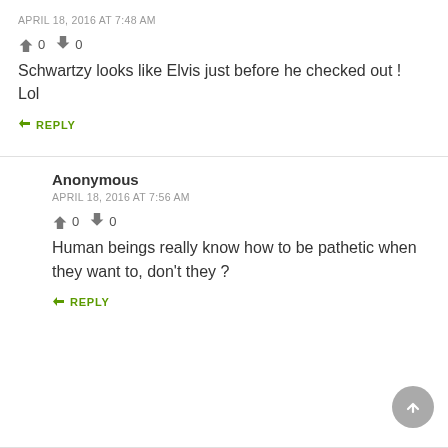APRIL 18, 2016 AT 7:48 AM
👍 0 👎 0
Schwartzy looks like Elvis just before he checked out ! Lol
↳ REPLY
Anonymous
APRIL 18, 2016 AT 7:56 AM
👍 0 👎 0
Human beings really know how to be pathetic when they want to, don't they ?
↳ REPLY